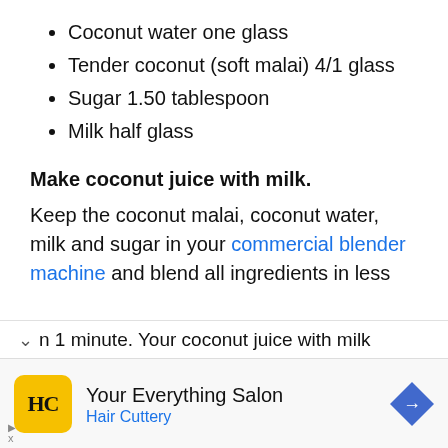Coconut water one glass
Tender coconut (soft malai) 4/1 glass
Sugar 1.50 tablespoon
Milk half glass
Make coconut juice with milk.
Keep the coconut malai, coconut water, milk and sugar in your commercial blender machine and blend all ingredients in less than 1 minute. Your coconut juice with milk
[Figure (other): Advertisement banner for Hair Cuttery salon with logo, tagline 'Your Everything Salon', and navigation arrow icon]